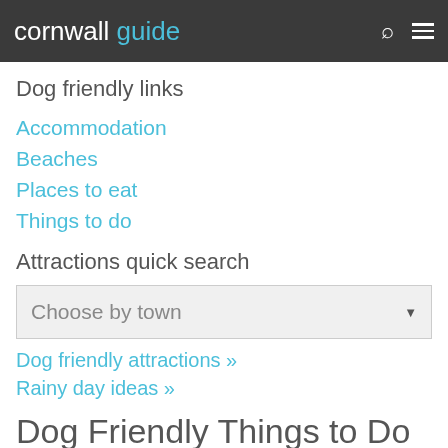cornwall guide
Dog friendly links
Accommodation
Beaches
Places to eat
Things to do
Attractions quick search
Choose by town
Dog friendly attractions »
Rainy day ideas »
Dog Friendly Things to Do